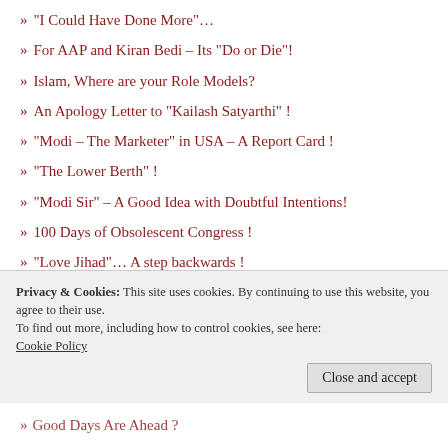» “I Could Have Done More”…
» For AAP and Kiran Bedi – Its “Do or Die”!
» Islam, Where are your Role Models?
» An Apology Letter to “Kailash Satyarthi” !
» “Modi – The Marketer” in USA – A Report Card !
» “The Lower Berth” !
» “Modi Sir” – A Good Idea with Doubtful Intentions!
» 100 Days of Obsolescent Congress !
» “Love Jihad”… A step backwards !
» Halo (Movie) : More Than Meets The Eye !
Privacy & Cookies: This site uses cookies. By continuing to use this website, you agree to their use. To find out more, including how to control cookies, see here: Cookie Policy
» Good Days Are Ahead ?